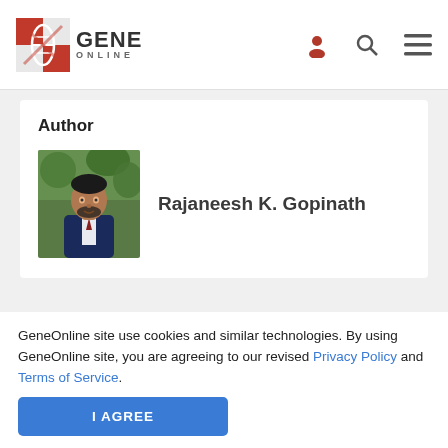[Figure (logo): GeneOnline logo with red DNA helix icon and bold GENE ONLINE text]
Author
[Figure (photo): Photo of Rajaneesh K. Gopinath, a man in a suit against a green background]
Rajaneesh K. Gopinath
Related Post
[Figure (illustration): Scientific illustration of cancer cells and immune cells on dark red background]
GeneOnline site use cookies and similar technologies. By using GeneOnline site, you are agreeing to our revised Privacy Policy and Terms of Service.